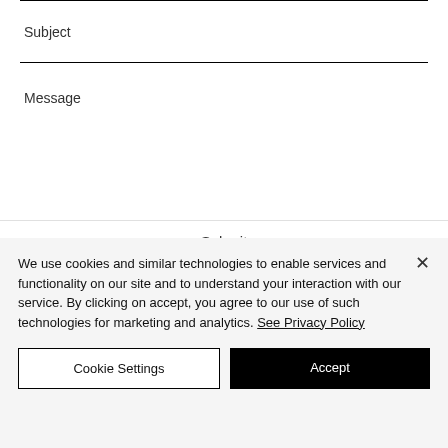Subject
Message
Submit
We use cookies and similar technologies to enable services and functionality on our site and to understand your interaction with our service. By clicking on accept, you agree to our use of such technologies for marketing and analytics. See Privacy Policy
Cookie Settings
Accept